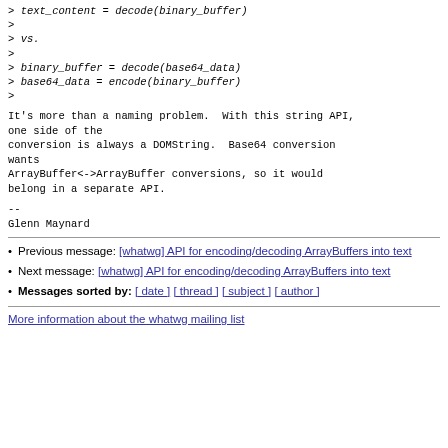> text_content = decode(binary_buffer)
>
> vs.
>
> binary_buffer = decode(base64_data)
> base64_data = encode(binary_buffer)
>
It's more than a naming problem.  With this string API, one side of the
conversion is always a DOMString.  Base64 conversion wants
ArrayBuffer<->ArrayBuffer conversions, so it would belong in a separate API.
--
Glenn Maynard
Previous message: [whatwg] API for encoding/decoding ArrayBuffers into text
Next message: [whatwg] API for encoding/decoding ArrayBuffers into text
Messages sorted by: [ date ] [ thread ] [ subject ] [ author ]
More information about the whatwg mailing list